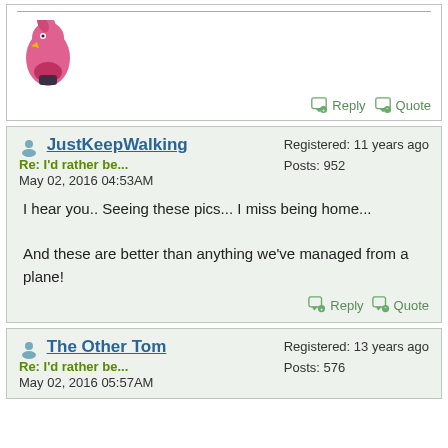[Figure (photo): Pink bird cartoon avatar/mascot image]
Reply  Quote
JustKeepWalking
Re: I'd rather be...
May 02, 2016 04:53AM
Registered: 11 years ago
Posts: 952
I hear you.. Seeing these pics... I miss being home...

And these are better than anything we've managed from a plane!
Reply  Quote
The Other Tom
Re: I'd rather be...
May 02, 2016 05:57AM
Registered: 13 years ago
Posts: 576